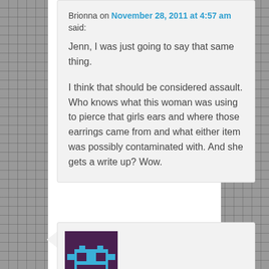Brionna on November 28, 2011 at 4:57 am said:
Jenn, I was just going to say that same thing.

I think that should be considered assault. Who knows what this woman was using to pierce that girls ears and where those earrings came from and what either item was possibly contaminated with. And she gets a write up? Wow.
[Figure (illustration): Pixel art avatar icon: a stylized blue robot/character on a dark purple background]